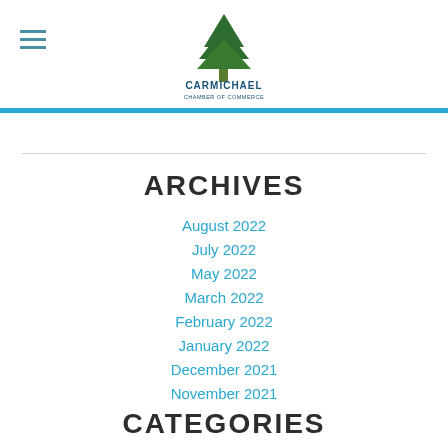Carmichael Chamber of Commerce
ARCHIVES
August 2022
July 2022
May 2022
March 2022
February 2022
January 2022
December 2021
November 2021
CATEGORIES
All